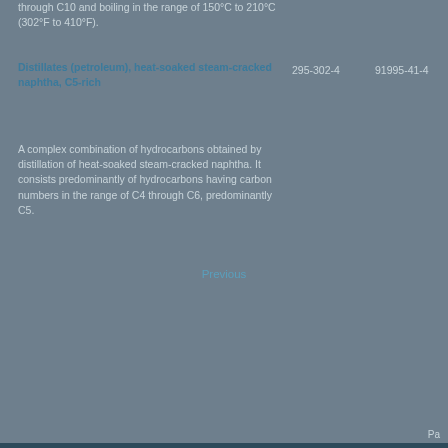through C10 and boiling in the range of 150°C to 210°C (302°F to 410°F).
Distillates (petroleum), heat-soaked steam-cracked naphtha, C5-rich
295-302-4     91995-41-4
A complex combination of hydrocarbons obtained by distillation of heat-soaked steam-cracked naphtha. It consists predominantly of hydrocarbons having carbon numbers in the range of C4 through C6, predominantly C5.
Pa